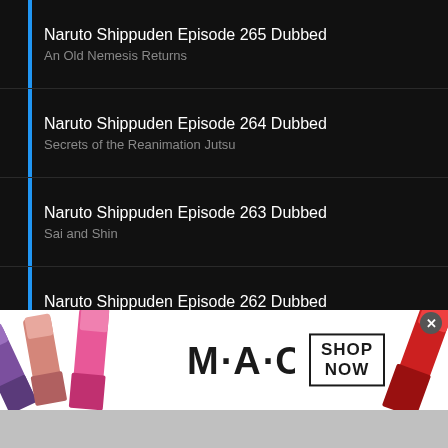Naruto Shippuden Episode 265 Dubbed
An Old Nemesis Returns
Naruto Shippuden Episode 264 Dubbed
Secrets of the Reanimation Jutsu
Naruto Shippuden Episode 263 Dubbed
Sai and Shin
Naruto Shippuden Episode 262 Dubbed
War Begins
Naruto Shippuden Episode 261 Dubbed
For My Friend
Naruto Shippuden Episode 260 Dubbed
[Figure (photo): MAC cosmetics advertisement showing lipsticks in purple, pink, and red colors with MAC logo and SHOP NOW button]